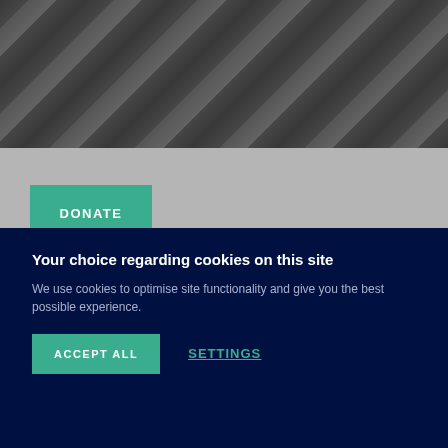[Figure (photo): Black and white photograph of people, cropped at bottom, grayscale]
DONATE
Share
Add to my list
Details
Your choice regarding cookies on this site
We use cookies to optimise site functionality and give you the best possible experience.
ACCEPT ALL
SETTINGS